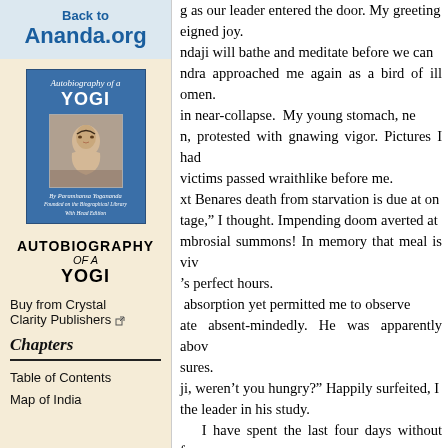Back to
Ananda.org
[Figure (illustration): Book cover of Autobiography of a Yogi by Paramhansa Yogananda, blue cover with portrait photo]
AUTOBIOGRAPHY OF A YOGI
Buy from Crystal Clarity Publishers
Chapters
Table of Contents
Map of India
g as our leader entered the door. My greetings eigned joy.
ndaji will bathe and meditate before we can
ndra approached me again as a bird of ill omen.
in near-collapse. My young stomach, ne
n, protested with gnawing vigor. Pictures I had
victims passed wraithlike before me.
xt Benares death from starvation is due at on
tage," I thought. Impending doom averted at
mbrosial summons! In memory that meal is viv
's perfect hours.
absorption yet permitted me to observe
ate absent-mindedly. He was apparently abov
sures.
ji, weren't you hungry?" Happily surfeited, I
the leader in his study.
  I have spent the last four days without foo
never eat on trains, filled with the heteroge
of worldly people. Strictly I observe the shas
onks of my particular order.
n problems of our organizational work lie o
ight at home I neglected my dinner. What'
norrow I'll make it a point to have a proper m
d merrily.
spread within me like a suffocation. But the pas
ture was not easily forgotten; I ventured a fu